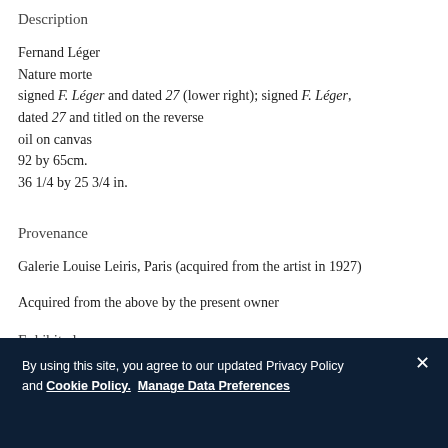Description
Fernand Léger
Nature morte
signed F. Léger and dated 27 (lower right); signed F. Léger, dated 27 and titled on the reverse
oil on canvas
92 by 65cm.
36 1/4 by 25 3/4 in.
Provenance
Galerie Louise Leiris, Paris (acquired from the artist in 1927)
Acquired from the above by the present owner
Exhibited
By using this site, you agree to our updated Privacy Policy and Cookie Policy.  Manage Data Preferences